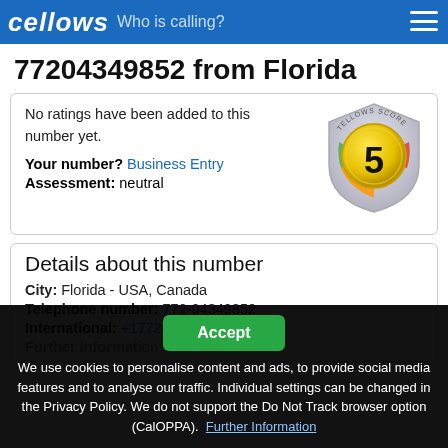callows Who is calling?
77204349852 from Florida
No ratings have been added to this number yet.
[Figure (illustration): Tellows Score shield badge with number 5 in center, green/orange/red color segments]
Your number? Business Entry
Assessment: neutral
Details about this number
City: Florida - USA, Canada
Telephone number: 772-04349852
International: +177204349852
Further Information
We use cookies to personalise content and ads, to provide social media features and to analyse our traffic. Individual settings can be changed in the Privacy Policy. We do not support the Do Not Track browser option (CalOPPA). Further Information